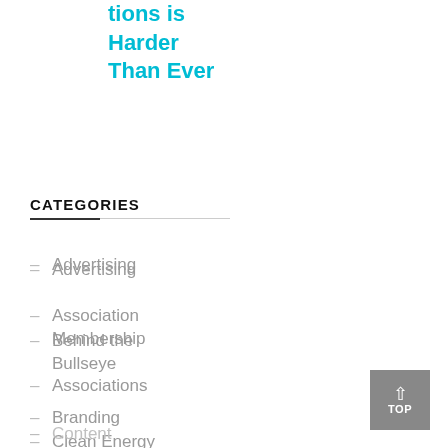tions is Harder Than Ever
CATEGORIES
Advertising
Association Membership
Associations
Behind the Bullseye
Branding
Clean Energy
Content